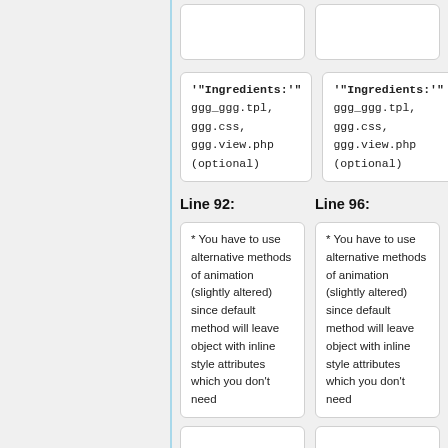'"'Ingredients:'"' ggg_ggg.tpl, ggg.css, ggg.view.php (optional)
'"'Ingredients:'"' ggg_ggg.tpl, ggg.css, ggg.view.php (optional)
Line 92:
Line 96:
* You have to use alternative methods of animation (slightly altered) since default method will leave object with inline style attributes which you don't need
* You have to use alternative methods of animation (slightly altered) since default method will leave object with inline style attributes which you don't need